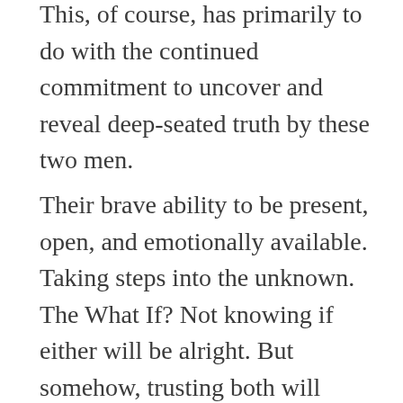This, of course, has primarily to do with the continued commitment to uncover and reveal deep-seated truth by these two men.
Their brave ability to be present, open, and emotionally available. Taking steps into the unknown. The What If? Not knowing if either will be alright. But somehow, trusting both will emerge on the other end, supported, unharmed.
You believe they truly love each other.
The…